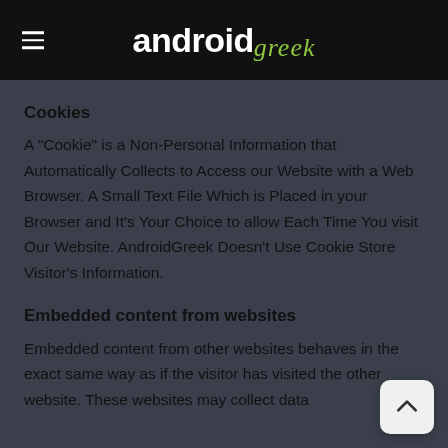android greek
Cookies
A "Cookie" is a Non-Personal Information that Automatically Collects to Access our Website with a Web Browser. A Small Text File Which is Placed in your Browser and It’s Your Choice to allow Each Time You visit Our Website. AndroidGreek Doesn’t Use Cookie Store Visitor’s Information.
Embedded content from websites
Embedded content from other websites behaves in the exact same way as if the visitor has visited the other website. These websites may collect data